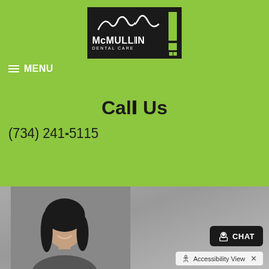[Figure (logo): McMullin Dental Care logo — white text on dark background with olive/green accent bar]
≡ MENU
Call Us
(734) 241-5115
[Figure (photo): Woman with dark hair smiling, photo on grey background]
♿ Accessibility View ✕
CHAT